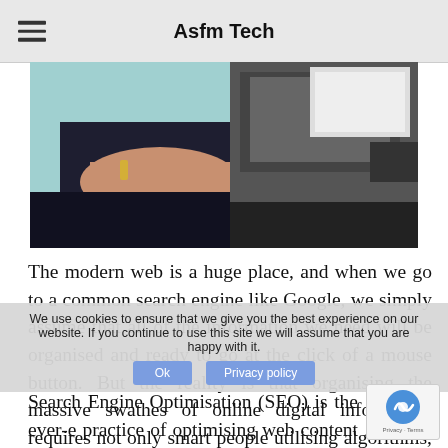Asfm Tech
[Figure (photo): A person sitting with hands visible, dark clothing, background with desk/office items visible]
The modern web is a huge place, and when we go to a common search engine like Google, we simply assume that all of the information we need will be organised and ready to go at the click of a mouse button. But the reality is that organising the massive swathes of online digital information requires not only smart people utilising algorithms, but also web content that can be rated and understood by the search engine using a commonly accepted language or the organisation.
We use cookies to ensure that we give you the best experience on our website. If you continue to use this site we will assume that you are happy with it.
Search Engine Optimisation (SEO) is the ever-e practice of optimising web content so that it indexed effectively by search engines. Whilst it might